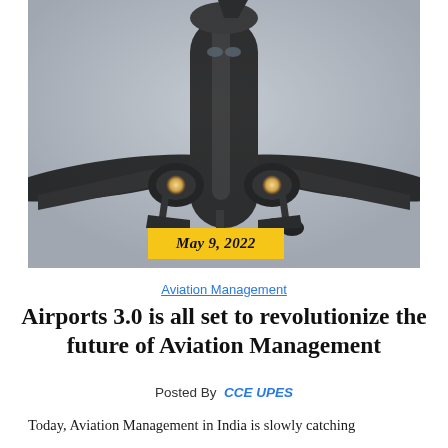[Figure (photo): Front-facing view of a commercial airplane taken from below against a grey overcast sky, with landing lights on and landing gear deployed]
May 9, 2022
Aviation Management
Airports 3.0 is all set to revolutionize the future of Aviation Management
Posted By CCE UPES
Today, Aviation Management in India is slowly catching